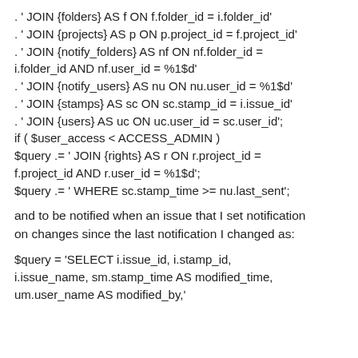. ' JOIN {folders} AS f ON f.folder_id = i.folder_id'
. ' JOIN {projects} AS p ON p.project_id = f.project_id'
. ' JOIN {notify_folders} AS nf ON nf.folder_id = i.folder_id AND nf.user_id = %1$d'
. ' JOIN {notify_users} AS nu ON nu.user_id = %1$d'
. ' JOIN {stamps} AS sc ON sc.stamp_id = i.issue_id'
. ' JOIN {users} AS uc ON uc.user_id = sc.user_id';
if ( $user_access < ACCESS_ADMIN )
$query .= ' JOIN {rights} AS r ON r.project_id = f.project_id AND r.user_id = %1$d';
$query .= ' WHERE sc.stamp_time >= nu.last_sent';
and to be notified when an issue that I set notification on changes since the last notification I changed as:
$query = 'SELECT i.issue_id, i.stamp_id, i.issue_name, sm.stamp_time AS modified_time, um.user_name AS modified_by,'